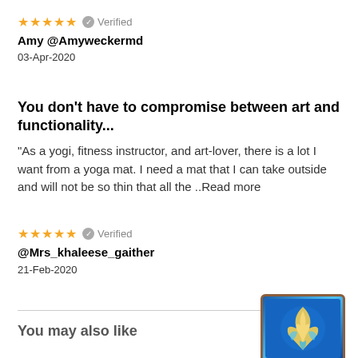★★★★★ ✓ Verified
Amy @Amyweckermd
03-Apr-2020
You don't have to compromise between art and functionality...
"As a yogi, fitness instructor, and art-lover, there is a lot I want from a yoga mat. I need a mat that I can take outside and will not be so thin that all the ..Read more
★★★★★ ✓ Verified
@Mrs_khaleese_gaither
21-Feb-2020
You may also like
[Figure (photo): Product image showing a blue decorative card/mat with gold leaf/tree design on brown border]